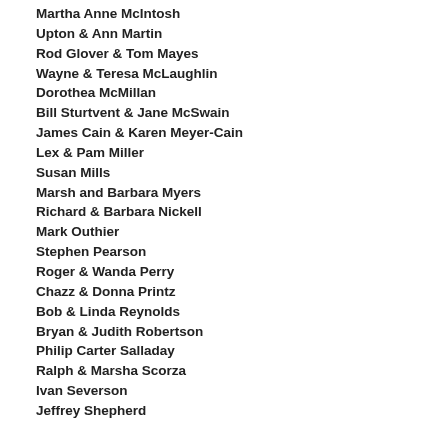Martha Anne McIntosh
Upton & Ann Martin
Rod Glover & Tom Mayes
Wayne & Teresa McLaughlin
Dorothea McMillan
Bill Sturtvent & Jane McSwain
James Cain & Karen Meyer-Cain
Lex & Pam Miller
Susan Mills
Marsh and Barbara Myers
Richard & Barbara Nickell
Mark Outhier
Stephen Pearson
Roger & Wanda Perry
Chazz & Donna Printz
Bob & Linda Reynolds
Bryan & Judith Robertson
Philip Carter Salladay
Ralph & Marsha Scorza
Ivan Severson
Jeffrey Shepherd